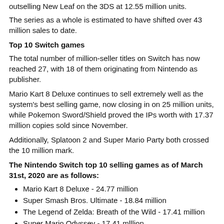outselling New Leaf on the 3DS at 12.55 million units.
The series as a whole is estimated to have shifted over 43 million sales to date.
Top 10 Switch games
The total number of million-seller titles on Switch has now reached 27, with 18 of them originating from Nintendo as publisher.
Mario Kart 8 Deluxe continues to sell extremely well as the system's best selling game, now closing in on 25 million units, while Pokemon Sword/Shield proved the IPs worth with 17.37 million copies sold since November.
Additionally, Splatoon 2 and Super Mario Party both crossed the 10 million mark.
The Nintendo Switch top 10 selling games as of March 31st, 2020 are as follows:
Mario Kart 8 Deluxe - 24.77 million
Super Smash Bros. Ultimate - 18.84 million
The Legend of Zelda: Breath of the Wild - 17.41 million
Super Mario Odyssey - 17.41 million
Pokemon Sword/Shield - 17.37 million
Pokemon Let's GO Pikachu/Eevee - 11.97 million
Animal Crossing: New Horizons - 11.77 million
Splatoon 2 - 10.13 million
Super Mario Party - 10.10 million
New Super Mario Bros. U Deluxe - 6.60 million